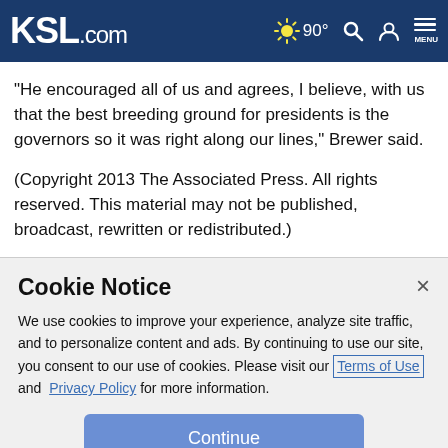KSL.com  90°
"He encouraged all of us and agrees, I believe, with us that the best breeding ground for presidents is the governors so it was right along our lines," Brewer said.
(Copyright 2013 The Associated Press. All rights reserved. This material may not be published, broadcast, rewritten or redistributed.)
Cookie Notice
We use cookies to improve your experience, analyze site traffic, and to personalize content and ads. By continuing to use our site, you consent to our use of cookies. Please visit our Terms of Use and Privacy Policy for more information.
Continue